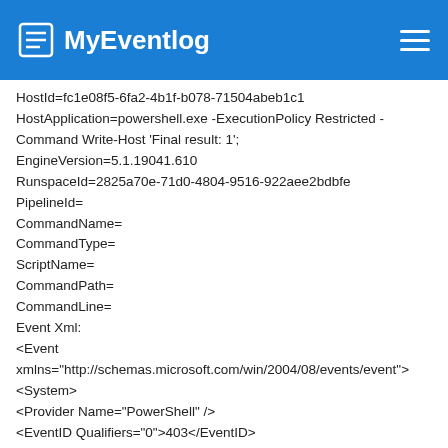MyEventlog
HostId=fc1e08f5-6fa2-4b1f-b078-71504abeb1c1
HostApplication=powershell.exe -ExecutionPolicy Restricted -Command Write-Host 'Final result: 1';
EngineVersion=5.1.19041.610
RunspaceId=2825a70e-71d0-4804-9516-922aee2bdbfe
PipelineId=
CommandName=
CommandType=
ScriptName=
CommandPath=
CommandLine=
Event Xml:
<Event xmlns="http://schemas.microsoft.com/win/2004/08/events/event">
<System>
<Provider Name="PowerShell" />
<EventID Qualifiers="0">403</EventID>
<Version>0</Version>
<Level>4</Level>
<Task>4</Task>